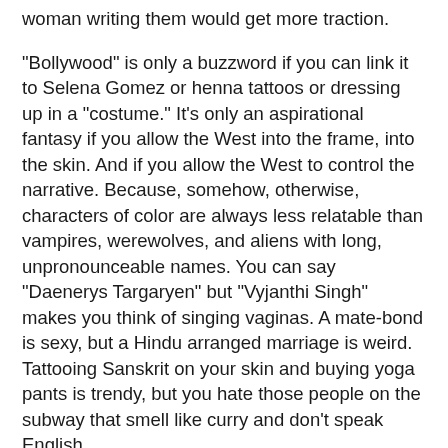woman writing them would get more traction.
"Bollywood" is only a buzzword if you can link it to Selena Gomez or henna tattoos or dressing up in a "costume." It's only an aspirational fantasy if you allow the West into the frame, into the skin. And if you allow the West to control the narrative. Because, somehow, otherwise, characters of color are always less relatable than vampires, werewolves, and aliens with long, unpronounceable names. You can say "Daenerys Targaryen" but "Vyjanthi Singh" makes you think of singing vaginas. A mate-bond is sexy, but a Hindu arranged marriage is weird. Tattooing Sanskrit on your skin and buying yoga pants is trendy, but you hate those people on the subway that smell like curry and don't speak English.
POCs are not allowed ownership of our own love stories, our own cultures, our own existence, unless someone with power approves of it. And, even then, you need to be a Maya Angelou, a Toni Morrison, a Jhumpa Lahiri or Arundhati Roy, to get anywhere. A "serious writer." A litficcer. Writing about immigrant experiences and race relations and other NYT-approved subject matter. Yes, those are important